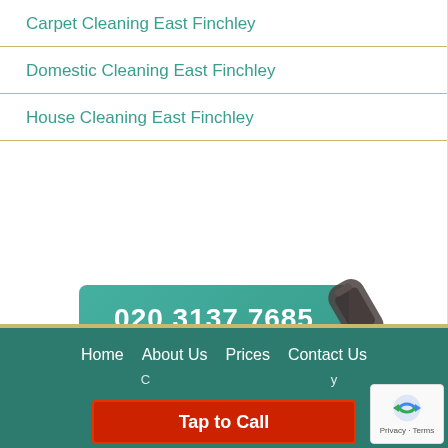Carpet Cleaning East Finchley
Domestic Cleaning East Finchley
House Cleaning East Finchley
[Figure (infographic): Teal rounded button showing phone number 020 3137 7685 with a telephone handset icon overlapping the right side]
[Figure (infographic): Gold/tan rounded button with text 'Book a Cleaner' and a cleaner figure icon overlapping the right side]
Home   About Us   Prices   Contact Us
Tap to Call